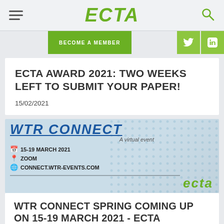ECTA
ECTA AWARD 2021: TWO WEEKS LEFT TO SUBMIT YOUR PAPER!
15/02/2021
[Figure (screenshot): Event card image showing WTR Connect event details: 15-19 MARCH 2021, ZOOM, CONNECT.WTR-EVENTS.COM, A virtual event, with ECTA logo]
WTR CONNECT SPRING COMING UP ON 15-19 MARCH 2021 - ECTA